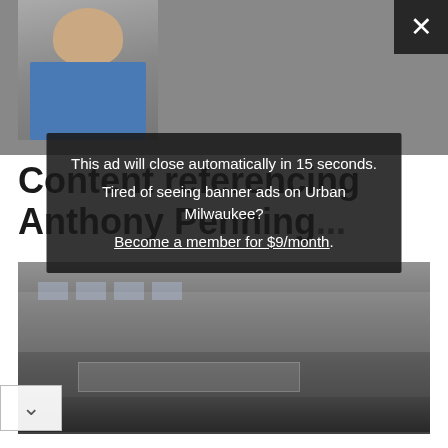[Figure (photo): Partial headshot of a person in a blue shirt, cropped at the top of the page]
Content referencing Anthony Penning...
[Figure (photo): Photograph of a building exterior, likely a college or public building with signage]
This ad will close automatically in 15 seconds.
Tired of seeing banner ads on Urban Milwaukee?
Become a member for $9/month.